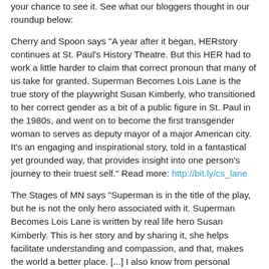your chance to see it. See what our bloggers thought in our roundup below:
Cherry and Spoon says "A year after it began, HERstory continues at St. Paul's History Theatre. But this HER had to work a little harder to claim that correct pronoun that many of us take for granted. Superman Becomes Lois Lane is the true story of the playwright Susan Kimberly, who transitioned to her correct gender as a bit of a public figure in St. Paul in the 1980s, and went on to become the first transgender woman to serves as deputy mayor of a major American city. It's an engaging and inspirational story, told in a fantastical yet grounded way, that provides insight into one person's journey to their truest self." Read more: http://bit.ly/cs_lane
The Stages of MN says "Superman is in the title of the play, but he is not the only hero associated with it. Superman Becomes Lois Lane is written by real life hero Susan Kimberly. This is her story and by sharing it, she helps facilitate understanding and compassion, and that, makes the world a better place. [...] I also know from personal experience that those who are able to share their journey